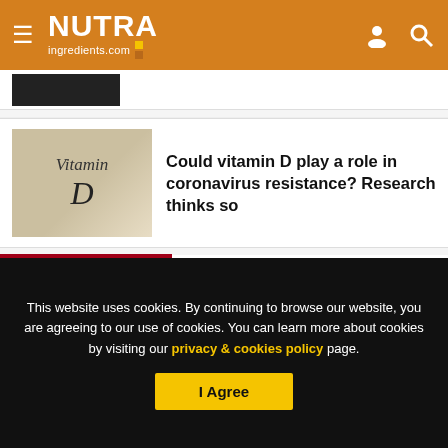NUTRAingredients.com
[Figure (screenshot): Partial article thumbnail (dark image, partially visible)]
[Figure (photo): Photo of 'Vitamin D' written in sand or on paper]
Could vitamin D play a role in coronavirus resistance? Research thinks so
RELATED PRODUCTS
SHOW MORE +
[Figure (screenshot): Whitepaper thumbnail with text 'Whitepaper: Discover']
Whitepaper: Optimizing immunity with
This website uses cookies. By continuing to browse our website, you are agreeing to our use of cookies. You can learn more about cookies by visiting our privacy & cookies policy page.
I Agree